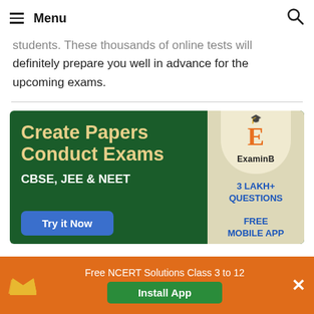Menu
students. These thousands of online tests will definitely prepare you well in advance for the upcoming exams.
[Figure (screenshot): ExaminB advertisement banner: dark green background with text 'Create Papers Conduct Exams CBSE, JEE & NEET' in cream/yellow, blue 'Try it Now' button on left; right side shows ExaminB logo with orange E and graduation cap, '3 LAKH+ QUESTIONS FREE MOBILE APP' in blue text on beige background]
Free NCERT Solutions Class 3 to 12 — Install App